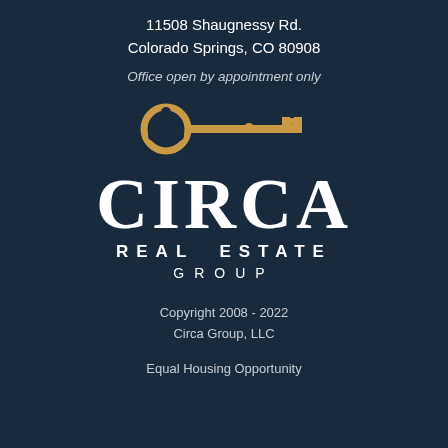11508 Shaugnessy Rd.
Colorado Springs, CO 80908
Office open by appointment only
[Figure (logo): Circa Real Estate Group logo with a golden key above the text CIRCA in large white serif letters, with REAL ESTATE GROUP below in smaller spaced sans-serif letters]
Copyright 2008 - 2022
Circa Group, LLC
Equal Housing Opportunity